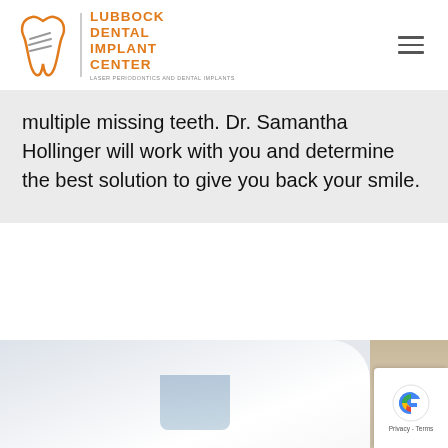Lubbock Dental Implant Center — LASER PERIODONTICS AND DENTAL IMPLANTS
multiple missing teeth. Dr. Samantha Hollinger will work with you and determine the best solution to give you back your smile.
[Figure (photo): Blurred photo of a person in a white medical coat with a light blue shirt visible at the collar, suggesting a dental or medical professional.]
Privacy - Terms